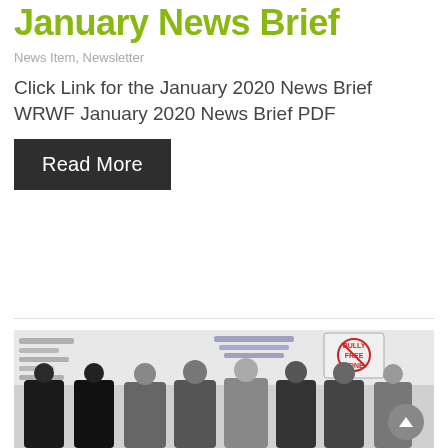January News Brief
News Item, Newsletter
Click Link for the January 2020 News Brief WRWF January 2020 News Brief PDF
Read More
[Figure (photo): Group photo of women in a classroom or meeting room setting, some wearing niqab and black abayas, with a whiteboard visible in the background with text including 'BULLY FREE ZONE']